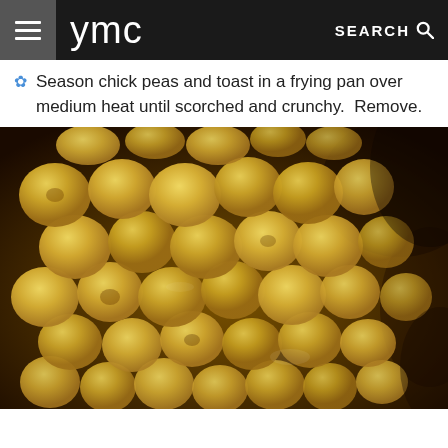ymc | SEARCH
Season chick peas and toast in a frying pan over medium heat until scorched and crunchy.  Remove.
[Figure (photo): Close-up photo of toasted/pan-fried chickpeas in a dark frying pan, golden-yellow and slightly scorched]